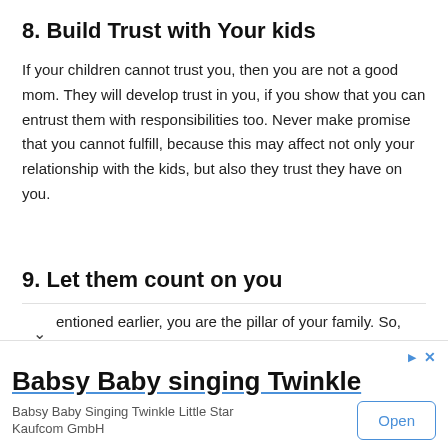8. Build Trust with Your kids
If your children cannot trust you, then you are not a good mom. They will develop trust in you, if you show that you can entrust them with responsibilities too. Never make promise that you cannot fulfill, because this may affect not only your relationship with the kids, but also they trust they have on you.
9. Let them count on you
entioned earlier, you are the pillar of your family. So, you
[Figure (screenshot): Ad banner for 'Babsy Baby singing Twinkle' app with an Open button, from Babsy Baby Singing Twinkle Little Star Kaufcom GmbH]